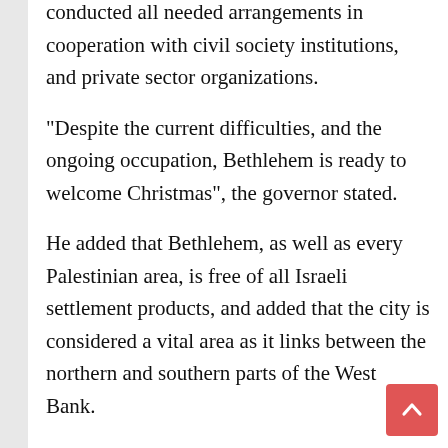conducted all needed arrangements in cooperation with civil society institutions, and private sector organizations.
“Despite the current difficulties, and the ongoing occupation, Bethlehem is ready to welcome Christmas”, the governor stated.
He added that Bethlehem, as well as every Palestinian area, is free of all Israeli settlement products, and added that the city is considered a vital area as it links between the northern and southern parts of the West Bank.
The governor yet said that there are attempts to smuggle settlement products into Bethlehem, but added that despite the fact the it will not be